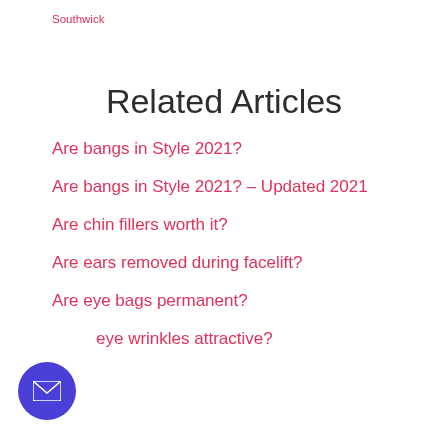Southwick
Related Articles
Are bangs in Style 2021?
Are bangs in Style 2021? – Updated 2021
Are chin fillers worth it?
Are ears removed during facelift?
Are eye bags permanent?
Are eye wrinkles attractive?